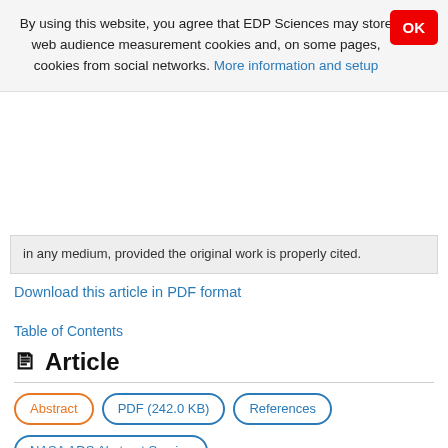By using this website, you agree that EDP Sciences may store web audience measurement cookies and, on some pages, cookies from social networks. More information and setup
in any medium, provided the original work is properly cited.
Download this article in PDF format
Table of Contents
Article
Abstract
PDF (242.0 KB)
References
NASA ADS Abstract Service
Metrics
Show article metrics